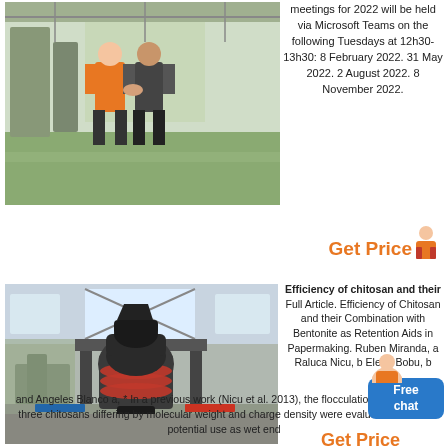[Figure (photo): Two people shaking hands in an industrial warehouse with green flooring and large equipment in the background.]
meetings for 2022 will be held via Microsoft Teams on the following Tuesdays at 12h30-13h30: 8 February 2022. 31 May 2022. 2 August 2022. 8 November 2022.
Get Price
[Figure (photo): Large industrial grinding mill machine in a factory setting with structural supports and other equipment visible.]
Efficiency of chitosan and their Full Article. Efficiency of Chitosan and their Combination with Bentonite as Retention Aids in Papermaking. Ruben Miranda, a Raluca Nicu, b Elena Bobu, b and Angeles Blanco a, * In a previous work (Nicu et al. 2013), the flocculation efficiency of three chitosans differing by molecular weight and charge density were evaluated for their potential use as wet end
Get Price